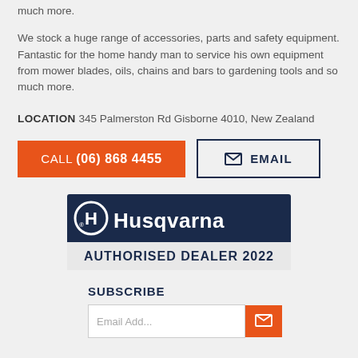much more.
We stock a huge range of accessories, parts and safety equipment. Fantastic for the home handy man to service his own equipment from mower blades, oils, chains and bars to gardening tools and so much more.
LOCATION 345 Palmerston Rd Gisborne 4010, New Zealand
[Figure (other): Orange call button with text CALL (06) 868 4455 and a bordered email button with envelope icon and text EMAIL]
[Figure (logo): Husqvarna Authorised Dealer 2022 logo — dark navy background with white Husqvarna branding and circular H logo, AUTHORISED DEALER 2022 in bold below]
SUBSCRIBE
[Figure (other): Email address input field with orange subscribe arrow button]